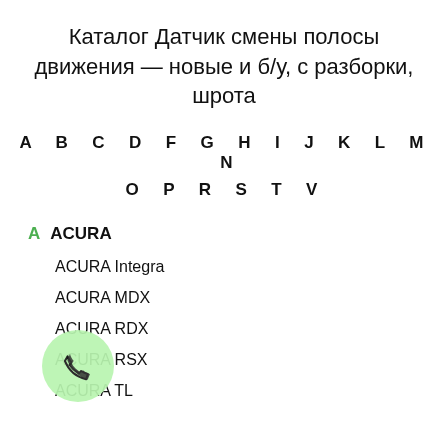Каталог Датчик смены полосы движения — новые и б/у, с разборки, шрота
A B C D F G H I J K L M N O P R S T V
A ACURA
ACURA Integra
ACURA MDX
ACURA RDX
ACURA RSX
ACURA TL